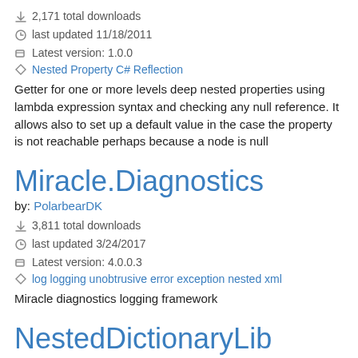2,171 total downloads
last updated 11/18/2011
Latest version: 1.0.0
Nested Property C# Reflection
Getter for one or more levels deep nested properties using lambda expression syntax and checking any null reference. It allows also to set up a default value in the case the property is not reachable perhaps because a node is null
Miracle.Diagnostics
by: PolarbearDK
3,811 total downloads
last updated 3/24/2017
Latest version: 4.0.0.3
log logging unobtrusive error exception nested xml
Miracle diagnostics logging framework
NestedDictionaryLib
by: mastercs999